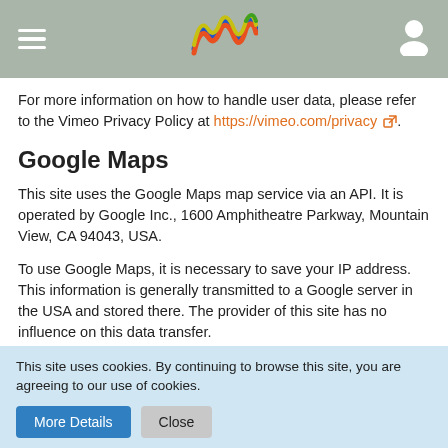[hamburger menu] [logo] [user icon]
For more information on how to handle user data, please refer to the Vimeo Privacy Policy at https://vimeo.com/privacy.
Google Maps
This site uses the Google Maps map service via an API. It is operated by Google Inc., 1600 Amphitheatre Parkway, Mountain View, CA 94043, USA.
To use Google Maps, it is necessary to save your IP address. This information is generally transmitted to a Google server in the USA and stored there. The provider of this site has no influence on this data transfer.
This site uses cookies. By continuing to browse this site, you are agreeing to our use of cookies.